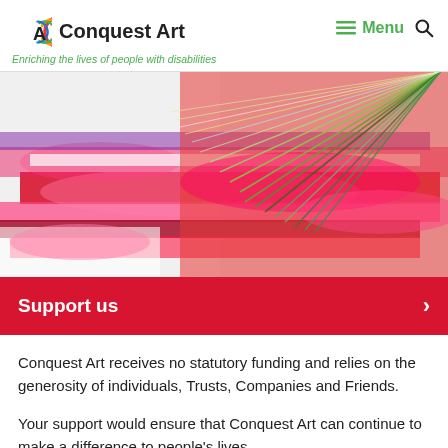Conquest Art | Enriching the lives of people with disabilities
[Figure (photo): Close-up photo of a paintbrush with green bristles on a colorful surface with red, pink, purple and white paint strokes]
Support us
Conquest Art receives no statutory funding and relies on the generosity of individuals, Trusts, Companies and Friends.
Your support would ensure that Conquest Art can continue to make a difference to people's lives.